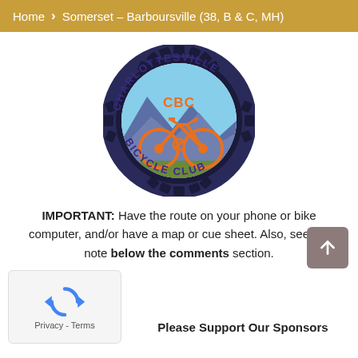Home > Somerset – Barboursville (38, B & C, MH)
[Figure (logo): Charlottesville Bicycle Club circular logo with gear border, mountain/sky scene, orange bicycle, and 'CBC' lettering]
IMPORTANT: Have the route on your phone or bike computer, and/or have a map or cue sheet. Also, see the note below the comments section.
Please Support Our Sponsors